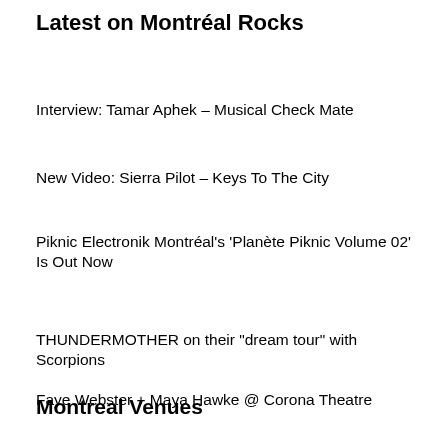Latest on Montréal Rocks
Interview: Tamar Aphek – Musical Check Mate
New Video: Sierra Pilot – Keys To The City
Piknic Electronik Montréal's 'Planète Piknic Volume 02' Is Out Now
THUNDERMOTHER on their "dream tour" with Scorpions
Faye Webster + Maya Hawke @ Corona Theatre
Montreal Venues